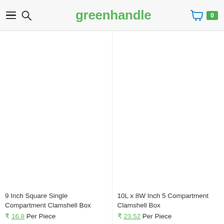greenhandle — navigation header with hamburger menu, search icon, logo, cart icon and badge showing 0
9 Inch Square Single Compartment Clamshell Box
₹ 16.8 Per Piece
10L x 8W Inch 5 Compartment Clamshell Box
₹ 23.52 Per Piece